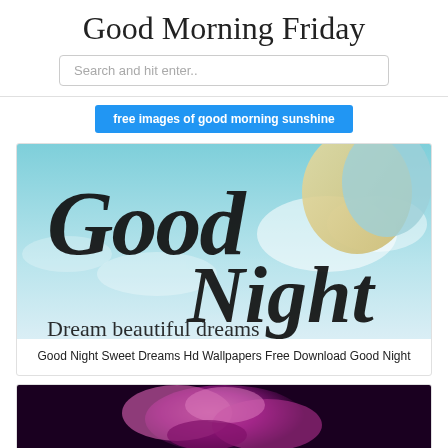Good Morning Friday
Search and hit enter..
free images of good morning sunshine
[Figure (illustration): Good Night Sweet Dreams greeting card image with decorative script text 'Good Night' and 'Dream beautiful dreams' over a teal/sky background with moon and clouds]
Good Night Sweet Dreams Hd Wallpapers Free Download Good Night
[Figure (photo): Partial view of a purple/magenta rose on a dark background]